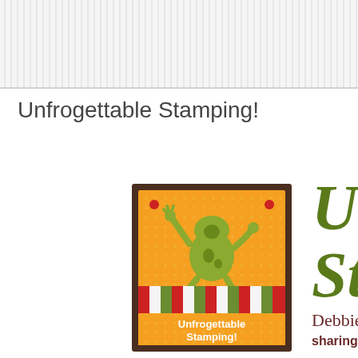Unfrogettable Stamping!
[Figure (logo): Unfrogettable Stamping logo: orange background with polka dots, cartoon frog jumping, striped banner in red/cream/green, text 'Unfrogettable Stamping!' in white, dark brown border frame, red dot corner accents]
Unfr
Sta
Debbie Naylor,
sharing my love of rubbers